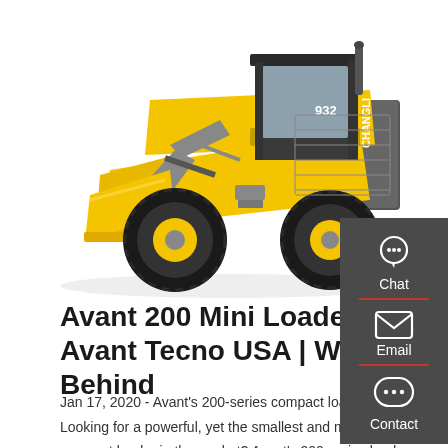[Figure (photo): Yellow Changli 932 wheel loader / mini loader on white background, front-left three-quarter view showing bucket raised slightly, large black tires with yellow rims]
Avant 200 Mini Loader - Avant Tecno USA | Walk Behind
Jan 17, 2020 - Avant's 200-series compact loader. Looking for a powerful, yet the smallest and most compact loader in the market? Avant's 200-series loader is up for the task! Horse